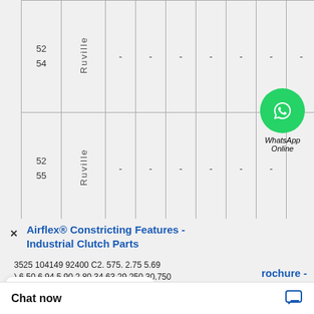|  | Brand | Col1 | Col2 | Col3 | Col4 | Col5 | Col6 | Col7 | Col8 |
| --- | --- | --- | --- | --- | --- | --- | --- | --- | --- |
| 52
54 | Ruville | - | - | - | - | - | - | - | - |
| 52
55 | Ruville | - | - | - | - | - | - |  | - |
[Figure (logo): WhatsApp Online button with green phone icon circle]
Airflex® Constricting Features - Industrial Clutch Parts
3525 104149 92400 C2. 575. 2.75 5.69 ) 6.50 6.94 5.90 2.80 34.63 29.250 30.750 750 1.50 1.44 3/8-18 9.19. 28CB525 104150 106000 C2.
Chat now
rochure -